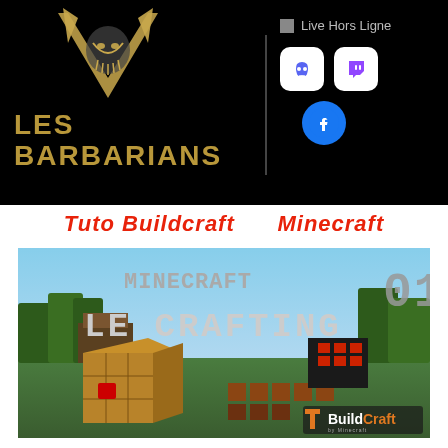[Figure (logo): Les Barbarians logo — golden horned helmet/face emblem above stylized golden text 'LES BARBARIANS' on black background, with Discord, Twitch, Facebook social icons and 'Live Hors Ligne' status on the right]
Tuto Buildcraft    Minecraft
[Figure (screenshot): Minecraft gameplay screenshot showing Buildcraft crafting tutorial — titled 'MINECRAFT 01 LE CRAFTING' with a crafting table block in foreground, BuildCraft logo in bottom right corner]